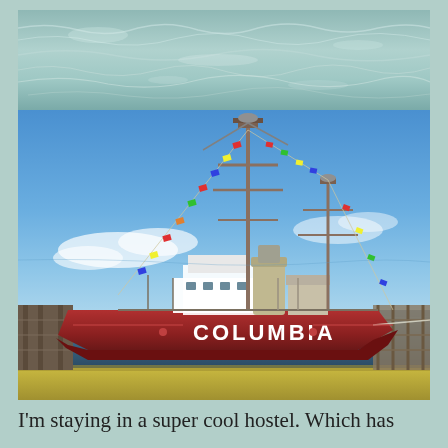[Figure (photo): Top portion: aerial/close-up view of rippling ocean water with green-blue tones. Bottom portion: A large red ship named COLUMBIA docked at a pier, with two masts decorated with colorful signal flags strung between them, white superstructure, set against a clear blue sky with calm water in foreground and a wooden pier to the right.]
I'm staying in a super cool hostel. Which has